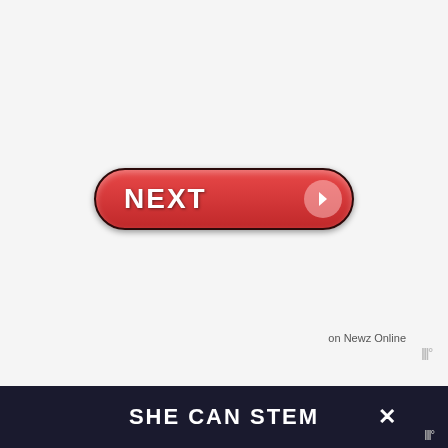[Figure (screenshot): A red pill-shaped NEXT button with white bold text and a right-arrow circle icon on the right side]
on Newz Online
Source
The most culturally diverse and majority Black neighborhoods lie in a region known
[Figure (screenshot): Dark bottom bar with SHE CAN STEM text in white bold, a close X button, and a widget icon]